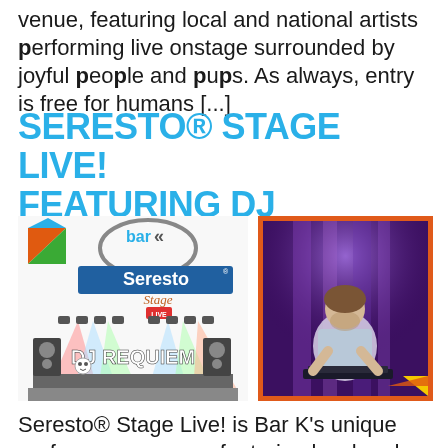venue, featuring local and national artists performing live onstage surrounded by joyful people and pups. As always, entry is free for humans [...]
SERESTO® STAGE LIVE! FEATURING DJ REQUIEM
[Figure (illustration): Bar K Seresto Stage Live! DJ Requiem promotional graphic with stage lights and speakers]
[Figure (photo): DJ Requiem performing on stage under purple stage lighting]
Seresto® Stage Live! is Bar K's unique performance venue, featuring local and national artists performing live onstage surrounded by joyful people